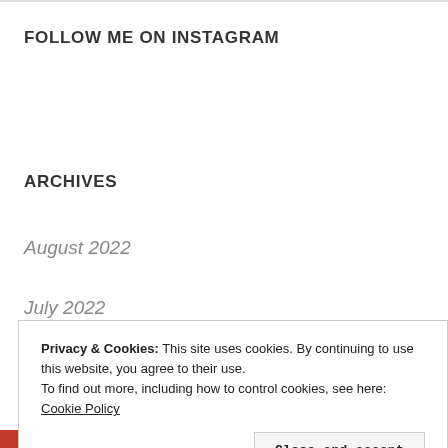FOLLOW ME ON INSTAGRAM
ARCHIVES
August 2022
July 2022
Privacy & Cookies: This site uses cookies. By continuing to use this website, you agree to their use.
To find out more, including how to control cookies, see here: Cookie Policy
Close and accept